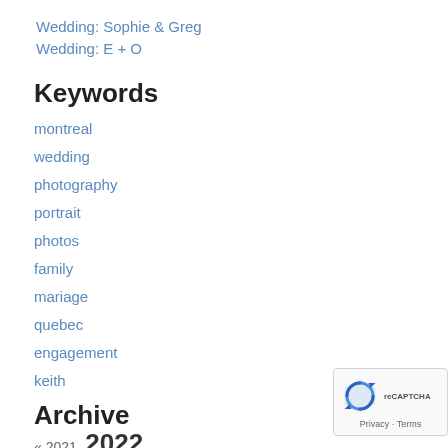Wedding: Sophie & Greg
Wedding: E + O
Keywords
montreal
wedding
photography
portrait
photos
family
mariage
quebec
engagement
keith
Archive
« 2021  2022
January (1)